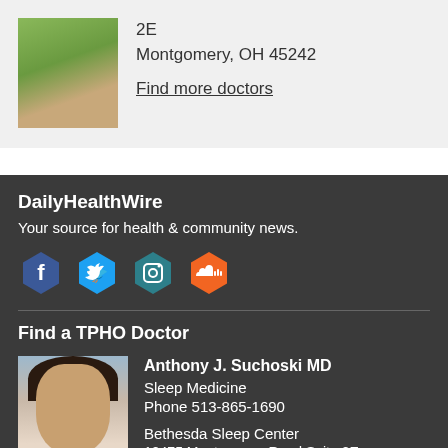2E
Montgomery, OH 45242
Find more doctors
DailyHealthWire
Your source for health & community news.
[Figure (infographic): Social media icons: Facebook (blue hexagon), Twitter (cyan hexagon), Instagram (dark teal hexagon), SoundCloud (orange hexagon)]
Find a TPHO Doctor
[Figure (photo): Headshot of Anthony J. Suchoski MD, a man with dark hair smiling, wearing a light green shirt]
Anthony J. Suchoski MD
Sleep Medicine
Phone 513-865-1690

Bethesda Sleep Center
10475 Montgomery Road Suite 2E